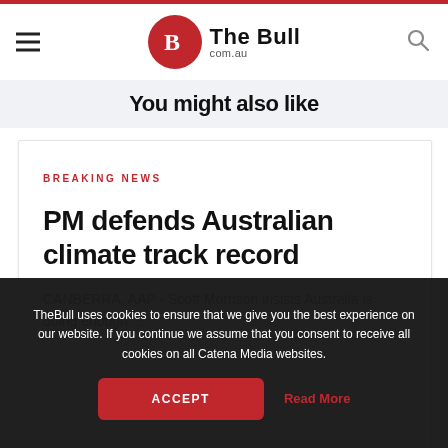The Bull com.au
You might also like
BREAKING NEWS
PM defends Australian climate track record
CANBERRA, AAP - Scott Morrison insists Australia is doing enough …
TheBull uses cookies to ensure that we give you the best experience on our website. If you continue we assume that you consent to receive all cookies on all Catena Media websites.